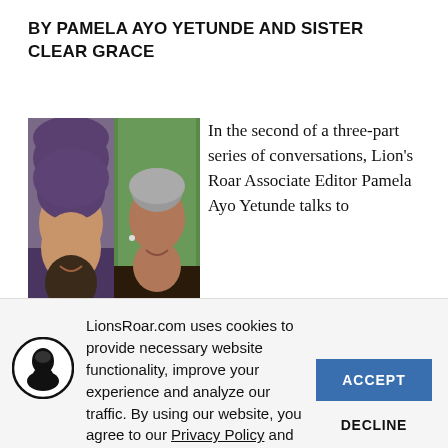BY PAMELA AYO YETUNDE AND SISTER CLEAR GRACE
[Figure (photo): Two women side by side: left person wearing a purple hijab smiling, right person with short gray hair smiling, green foliage background.]
In the second of a three-part series of conversations, Lion's Roar Associate Editor Pamela Ayo Yetunde talks to
LionsRoar.com uses cookies to provide necessary website functionality, improve your experience and analyze our traffic. By using our website, you agree to our Privacy Policy and our cookies usage.
ACCEPT
DECLINE